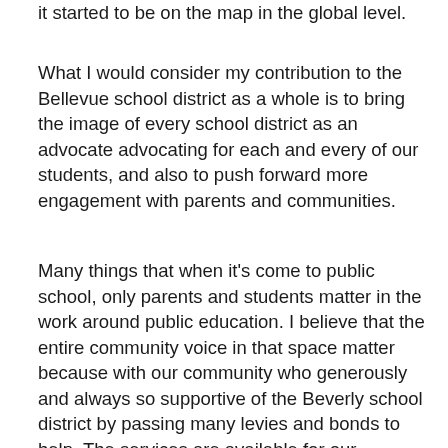it started to be on the map in the global level.
What I would consider my contribution to the Bellevue school district as a whole is to bring the image of every school district as an advocate advocating for each and every of our students, and also to push forward more engagement with parents and communities.
Many things that when it's come to public school, only parents and students matter in the work around public education. I believe that the entire community voice in that space matter because with our community who generously and always so supportive of the Beverly school district by passing many levies and bonds to help. The services are available for our teachers and our students, and so are the community voices, those who live within the Bellevue school district borders who do not have a